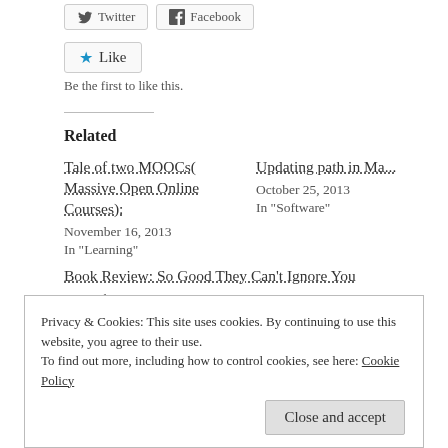[Figure (other): Twitter and Facebook share buttons at top]
[Figure (other): Like button with star icon]
Be the first to like this.
Related
Tale of two MOOCs( Massive Open Online Courses):
November 16, 2013
In "Learning"
Updating path in Ma
October 25, 2013
In "Software"
Book Review: So Good They Can't Ignore You
November 2, 2013
Privacy & Cookies: This site uses cookies. By continuing to use this website, you agree to their use.
To find out more, including how to control cookies, see here: Cookie Policy
Close and accept